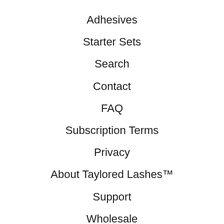Adhesives
Starter Sets
Search
Contact
FAQ
Subscription Terms
Privacy
About Taylored Lashes™
Support
Wholesale
Pageant Sponsorships